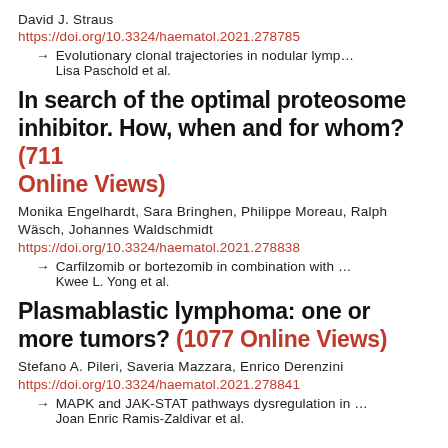David J. Straus
https://doi.org/10.3324/haematol.2021.278785
→ Evolutionary clonal trajectories in nodular lymp...
        Lisa Paschold et al.
In search of the optimal proteosome inhibitor. How, when and for whom? (711 Online Views)
Monika Engelhardt, Sara Bringhen, Philippe Moreau, Ralph Wäsch, Johannes Waldschmidt
https://doi.org/10.3324/haematol.2021.278838
→ Carfilzomib or bortezomib in combination with ...
        Kwee L. Yong et al.
Plasmablastic lymphoma: one or more tumors? (1077 Online Views)
Stefano A. Pileri, Saveria Mazzara, Enrico Derenzini
https://doi.org/10.3324/haematol.2021.278841
→ MAPK and JAK-STAT pathways dysregulation in ...
        Joan Enric Ramis-Zaldivar et al.